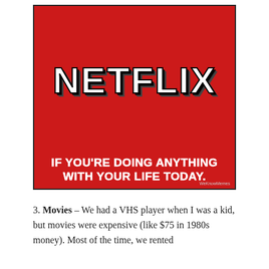[Figure (infographic): Netflix meme image: red background with Netflix logo at top in white bold letters with black shadow/stroke effect, and white bold text at bottom reading 'IF YOU'RE DOING ANYTHING WITH YOUR LIFE TODAY.' with a WeKnowMemes watermark.]
3. Movies – We had a VHS player when I was a kid, but movies were expensive (like $75 in 1980s money). Most of the time, we rented